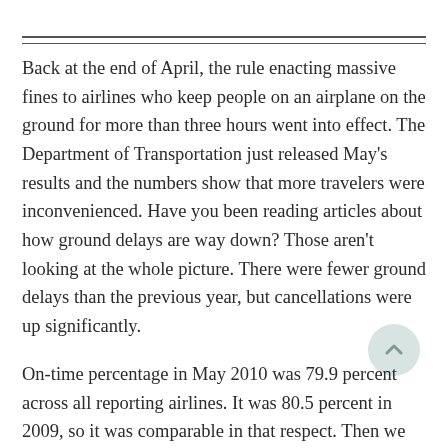Back at the end of April, the rule enacting massive fines to airlines who keep people on an airplane on the ground for more than three hours went into effect. The Department of Transportation just released May's results and the numbers show that more travelers were inconvenienced. Have you been reading articles about how ground delays are way down? Those aren't looking at the whole picture. There were fewer ground delays than the previous year, but cancellations were up significantly.
On-time percentage in May 2010 was 79.9 percent across all reporting airlines. It was 80.5 percent in 2009, so it was comparable in that respect. Then we look at